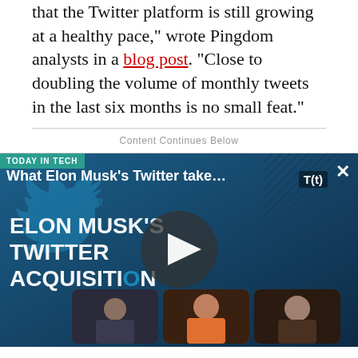that the Twitter platform is still growing at a healthy pace," wrote Pingdom analysts in a blog post. "Close to doubling the volume of monthly tweets in the last six months is no small feat."
Content Continues Below
[Figure (screenshot): Video player embed titled 'What Elon Musk's Twitter take...' with TODAY IN TECH label, showing a Twitter-branded background with text ELON MUSK'S TWITTER ACQUISITION, a play button, T(t) badge, close button, and three video thumbnails at the bottom.]